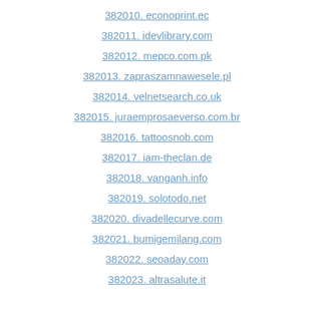382010. econoprint.ec
382011. idevlibrary.com
382012. mepco.com.pk
382013. zapraszamnawesele.pl
382014. velnetsearch.co.uk
382015. juraemprosaeverso.com.br
382016. tattoosnob.com
382017. iam-theclan.de
382018. vanganh.info
382019. solotodo.net
382020. divadellecurve.com
382021. bumigemilang.com
382022. seoaday.com
382023. altrasalute.it